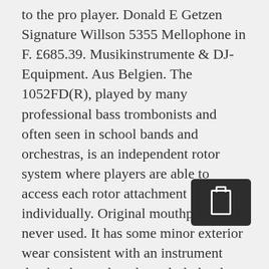to the pro player. Donald E Getzen Signature Willson 5355 Mellophone in F. £685.39. Musikinstrumente & DJ-Equipment. Aus Belgien. The 1052FD(R), played by many professional bass trombonists and often seen in school bands and orchestras, is an independent rotor system where players are able to access each rotor attachment individually. Original mouthpiece never used. It has some minor exterior wear consistent with an instrument that has been played regularly but has been well cared for. C $242.45. Whether its the one piece, hand hammered bell of the Custom Series and Artist Model lines, or the seamless bells on the 300/400 Series Trumpets, the quality of the bell shines through in the sound of each trumpet. All Getzen Custom Series Trombones are based on the best designs from the Getzen ProSho... Getzen presents Bass Trombones 3062AFR Bass Trombone If you are on the lookout for trombones